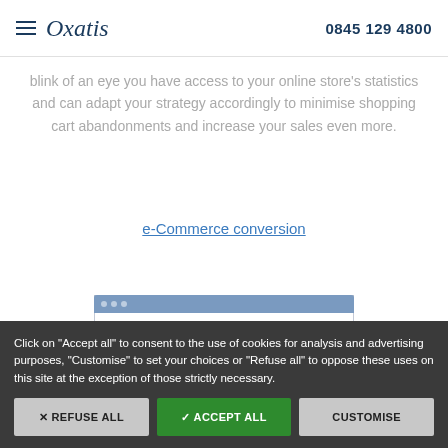Oxatis | 0845 129 4800
blink of an eye you have access to your online store's statistics and can adapt your strategy accordingly to minimise shopping cart abandonments and increase your sales even more.
e-Commerce conversion
[Figure (screenshot): Screenshot mockup of Oxatis website interface showing navigation bar with logo and dots, dark blue menu bar, and content area]
Click on "Accept all" to consent to the use of cookies for analysis and advertising purposes, "Customise" to set your choices or "Refuse all" to oppose these uses on this site at the exception of those strictly necessary.